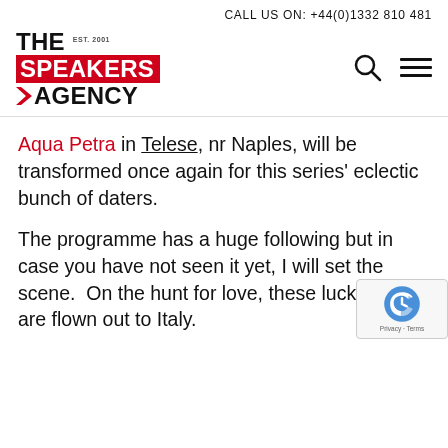CALL US ON: +44(0)1332 810 481
[Figure (logo): The Speakers Agency logo with EST. 2001, red background on SPEAKERS, and lightning bolt chevron before AGENCY]
Aqua Petra in Telese, nr Naples, will be transformed once again for this series' eclectic bunch of daters.
The programme has a huge following but in case you have not seen it yet, I will set the scene.  On the hunt for love, these lucky daters are flown out to Italy.